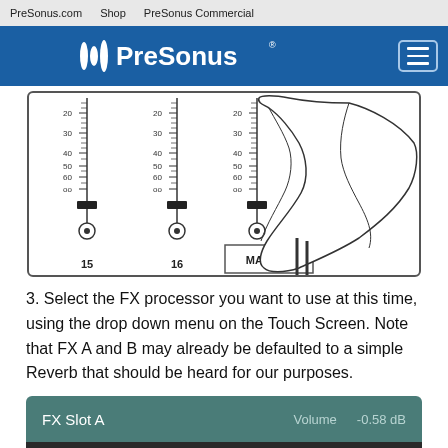PreSonus.com   Shop   PreSonus Commercial
[Figure (logo): PreSonus logo in white on blue header bar with hamburger menu button]
[Figure (illustration): Diagram showing mixer fader channels 15, 16, and MASTER with level markings at 20, 30, 40, 50, 60, oo and a hand illustration adjusting a fader]
3. Select the FX processor you want to use at this time, using the drop down menu on the Touch Screen.  Note that FX A and B may already be defaulted to a simple Reverb that should be heard for our purposes.
[Figure (screenshot): FX Slot A panel showing Volume -0.58 dB on a teal/dark background]